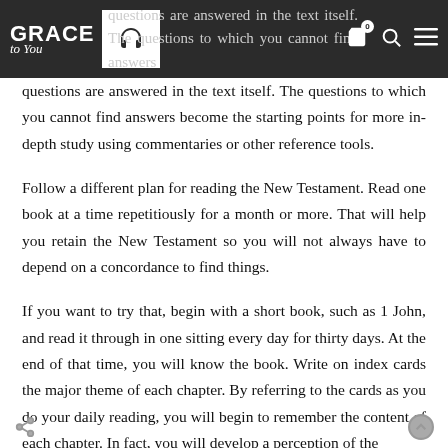Grace to You — navigation bar with logo, headphone icon, cart icon, search icon, menu icon
questions are answered in the text itself. The questions to which you cannot find answers become the starting points for more in-depth study using commentaries or other reference tools.
Follow a different plan for reading the New Testament. Read one book at a time repetitiously for a month or more. That will help you retain the New Testament so you will not always have to depend on a concordance to find things.
If you want to try that, begin with a short book, such as 1 John, and read it through in one sitting every day for thirty days. At the end of that time, you will know the book. Write on index cards the major theme of each chapter. By referring to the cards as you do your daily reading, you will begin to remember the content of each chapter. In fact, you will develop a perception of the